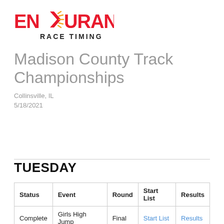[Figure (logo): Endurance Race Timing logo — bold red stylized text 'ENDURANCE' with a running figure arrow symbol in the middle, and 'RACE TIMING' in dark text below]
Madison County Track Championships
Collinsville, IL
5/18/2021
TUESDAY
| Status | Event | Round | Start List | Results |
| --- | --- | --- | --- | --- |
| Complete | Girls High Jump | Final | Start List | Results |